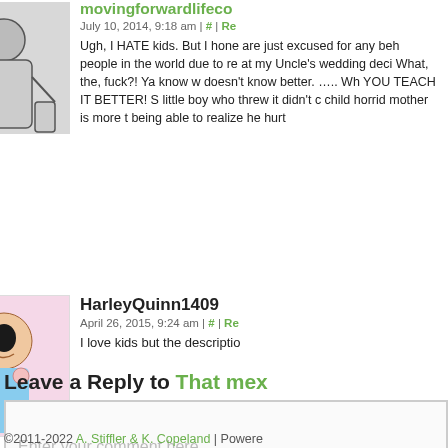[Figure (illustration): Grayscale sketch avatar showing two figures]
movingforwardlifeco
July 10, 2014, 9:18 am | # | Re...
Ugh, I HATE kids. But I hone... are just excused for any beh... people in the world due to re... at my Uncle's wedding deci... What, the, fuck?! Ya know w... doesn't know better. ..... Wh... YOU TEACH IT BETTER! S... little boy who threw it didn't c... child horrid mother is more t... being able to realize he hurt...
[Figure (illustration): Colorful cartoon avatar of a woman with dark hair and pink earrings]
HarleyQuinn1409
April 26, 2015, 9:24 am | # | Re...
I love kids but the descriptio...
Leave a Reply to That mex...
Enter your comment here...
©2011-2022 A. Stiffler & K. Copeland | Powere...